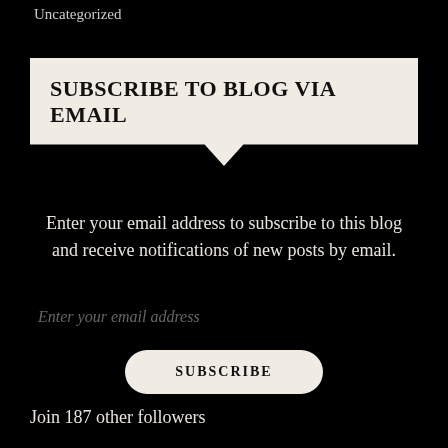Uncategorized
SUBSCRIBE TO BLOG VIA EMAIL
Enter your email address to subscribe to this blog and receive notifications of new posts by email.
Enter your email address
SUBSCRIBE
Join 187 other followers